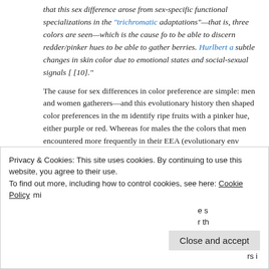that this sex difference arose from sex-specific functional specializations in the "trichromatic adaptations"—that is, three colors are seen—which is the cause for to be able to discern redder/pinker hues to be able to gather berries. Hurlbert a subtle changes in skin color due to emotional states and social-sexual signals [10]."
The cause for sex differences in color preference are simple: men and women gatherers—and this evolutionary history then shaped color preferences in the m identify ripe fruits with a pinker hue, either purple or red. Whereas for males the the colors that men encountered more frequently in their EEA (evolutionary env
He et al (2011) studied 436 Chinese college students from a Chinese university > gray > brown," while women preferred "purple > blue > yellow > green > pink green while women preferred pink, purple and white. Here is the just-so story (h
According to the Hunter-Gatherer Theory, as a consequence of an ada related task, they need more patience but show lower anxiety or neurob responsible to the gatherer-related task, sensitive to the food-related co
Privacy & Cookies: This site uses cookies. By continuing to use this website, you agree to their use.
To find out more, including how to control cookies, see here: Cookie Policy
Close and accept